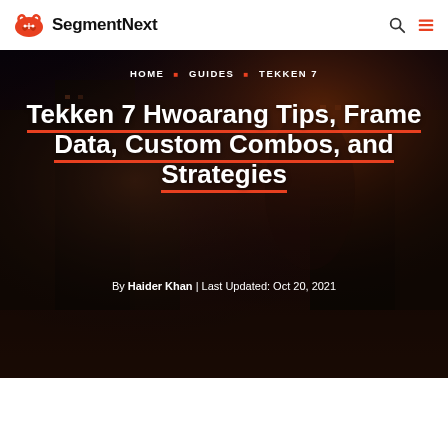SegmentNext
[Figure (screenshot): Hero background image showing Hwoarang character from Tekken 7 with dark atmospheric urban background with orange/brown tones]
HOME · GUIDES · TEKKEN 7
Tekken 7 Hwoarang Tips, Frame Data, Custom Combos, and Strategies
By Haider Khan | Last Updated: Oct 20, 2021